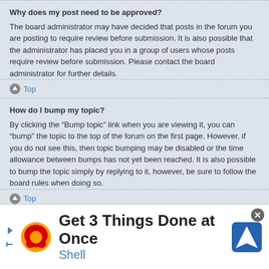Why does my post need to be approved?
The board administrator may have decided that posts in the forum you are posting to require review before submission. It is also possible that the administrator has placed you in a group of users whose posts require review before submission. Please contact the board administrator for further details.
Top
How do I bump my topic?
By clicking the “Bump topic” link when you are viewing it, you can “bump” the topic to the top of the forum on the first page. However, if you do not see this, then topic bumping may be disabled or the time allowance between bumps has not yet been reached. It is also possible to bump the topic simply by replying to it, however, be sure to follow the board rules when doing so.
Top
Formatting and Topic Types
What is BBCode?
[Figure (infographic): Advertisement banner: Get 3 Things Done at Once — Shell. Contains Shell logo and a navigation/map icon.]